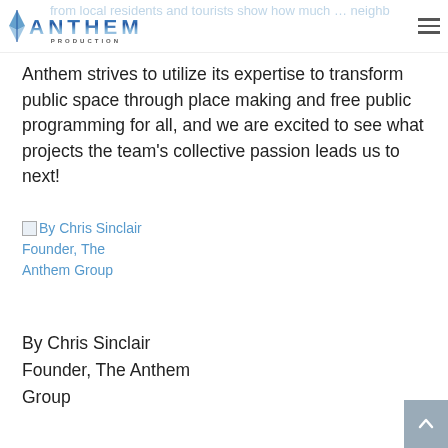Anthem Production
Anthem strives to utilize its expertise to transform public space through place making and free public programming for all, and we are excited to see what projects the team's collective passion leads us to next!
[Figure (photo): Broken/unloaded image placeholder with alt text 'By Chris Sinclair Founder, The Anthem Group' shown as a hyperlink in blue]
By Chris Sinclair
Founder, The Anthem Group